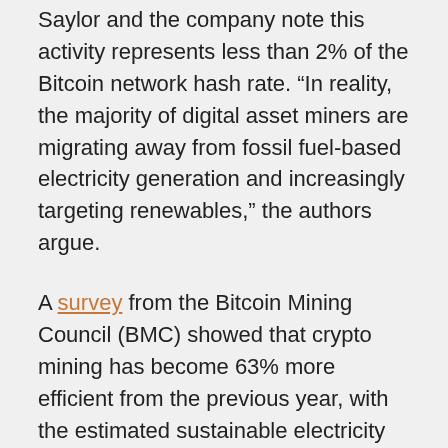Saylor and the company note this activity represents less than 2% of the Bitcoin network hash rate. “In reality, the majority of digital asset miners are migrating away from fossil fuel-based electricity generation and increasingly targeting renewables,” the authors argue.
A survey from the Bitcoin Mining Council (BMC) showed that crypto mining has become 63% more efficient from the previous year, with the estimated sustainable electricity mix now up to 58.4%. “This [power mix data] is markedly more sustainable than the default U.S. energy mix at 21% sustainable,” the authors wrote. “Digital asset mining is a fully digital process location agnostic, meaning miners can